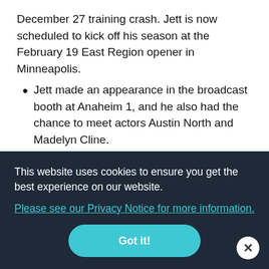December 27 training crash. Jett is now scheduled to kick off his season at the February 19 East Region opener in Minneapolis.
Jett made an appearance in the broadcast booth at Anaheim 1, and he also had the chance to meet actors Austin North and Madelyn Cline.
Anaheim 1 race week marked the 30th anniversary of the collaboration between Honda and graphics partner Throttle Jockey. At the 1992 Orlando round, Jeromy ...hics on ...e ...d do ...rently ...am
This website uses cookies to ensure you get the best experience on our website. Please see our Privacy Notice for more information. Got it!